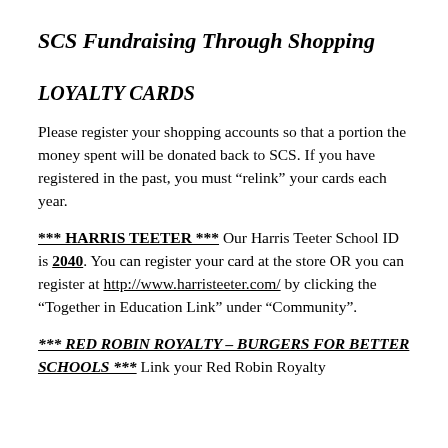SCS Fundraising Through Shopping
LOYALTY CARDS
Please register your shopping accounts so that a portion the money spent will be donated back to SCS. If you have registered in the past, you must “relink” your cards each year.
*** HARRIS TEETER *** Our Harris Teeter School ID is 2040. You can register your card at the store OR you can register at http://www.harristeeter.com/ by clicking the “Together in Education Link” under “Community”.
*** RED ROBIN ROYALTY – BURGERS FOR BETTER SCHOOLS *** Link your Red Robin Royalty